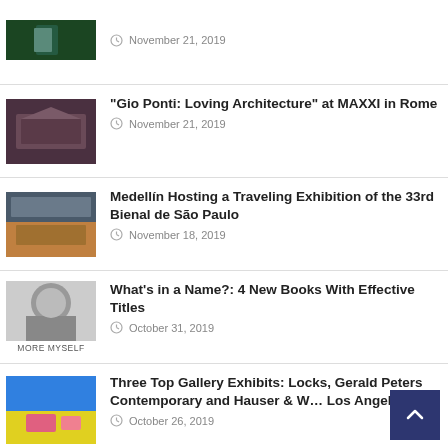[Figure (photo): Partial article thumbnail at top, person outdoors with green foliage]
November 21, 2019
[Figure (photo): Gio Ponti architecture building thumbnail]
“Gio Ponti: Loving Architecture” at MAXXI in Rome
November 21, 2019
[Figure (photo): Medellín exhibition crowd scene thumbnail]
Medellín Hosting a Traveling Exhibition of the 33rd Bienal de São Paulo
November 18, 2019
[Figure (photo): Black and white photo of woman with text MORE MYSELF]
What’s in a Name?: 4 New Books With Effective Titles
October 31, 2019
[Figure (photo): Colorful gallery exhibit thumbnail with blue and yellow]
Three Top Gallery Exhibits: Locks, Gerald Peters Contemporary and Hauser & W… Los Angeles
October 26, 2019